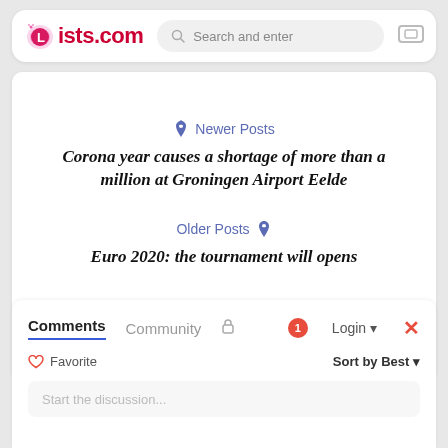lists.com — Search and enter
Newer Posts
Corona year causes a shortage of more than a million at Groningen Airport Eelde
Older Posts
Euro 2020: the tournament will opens
Comments  Community
Favorite
Sort by Best
Start the discussion...